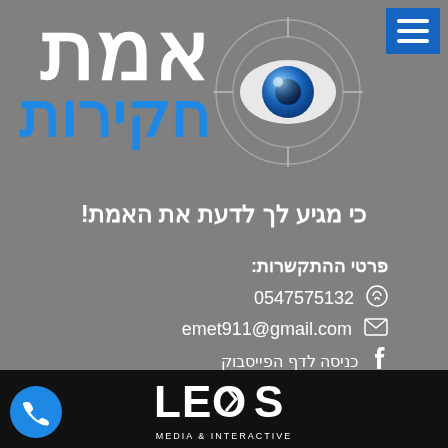[Figure (logo): Eye/crosshair logo with blue eye in center and gray crosshair rings]
אמת חקירות
כי מגיע לך לדעת את האמת!
פרטי ההתקשרות:
0547575132
emet911@gmail.com
כניסה לדף הפייסבוק
[Figure (logo): LEOS Media & Interactive logo in white on black background]